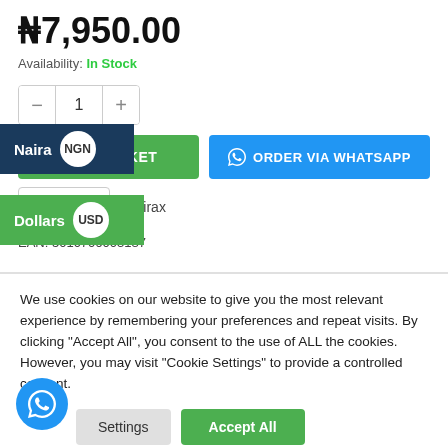₦7,950.00
Availability: In Stock
[Figure (screenshot): Quantity selector with minus button, value 1, plus button]
[Figure (screenshot): Currency selector showing Naira NGN overlay and Dollars USD overlay on green ADD TO BASKET button, and blue ORDER VIA WHATSAPP button]
Zovirax
EAN: 5010706003187
We use cookies on our website to give you the most relevant experience by remembering your preferences and repeat visits. By clicking "Accept All", you consent to the use of ALL the cookies. However, you may visit "Cookie Settings" to provide a controlled consent.
[Figure (screenshot): Settings button and Accept All button for cookie consent, with WhatsApp floating chat button]